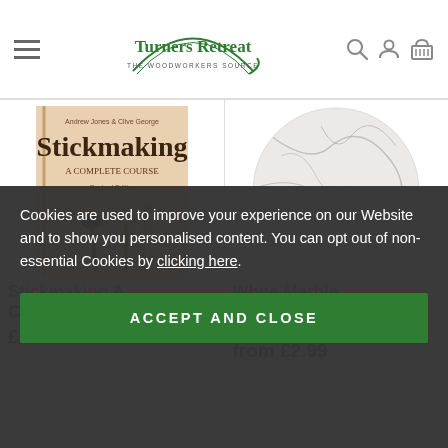Turners Retreat - THE WOODWORKERS SOURCE
[Figure (photo): Book cover: Stickmaking A Complete Course by Andrew Jones & Clive George, Revised Edition, showing walking sticks]
Stickmaking A Complete Course
£16.99
[Figure (photo): White marble tile shown as a circular cropped photo with grey veining]
White Marble Tiles
WHITE MARBLE
from £2.99
Cookies are used to improve your experience on our Website and to show you personalised content. You can opt out of non-essential Cookies by clicking here.
ACCEPT AND CLOSE